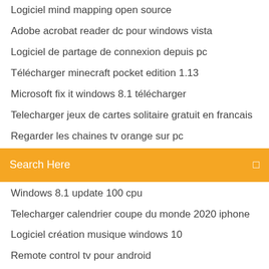Logiciel mind mapping open source
Adobe acrobat reader dc pour windows vista
Logiciel de partage de connexion depuis pc
Télécharger minecraft pocket edition 1.13
Microsoft fix it windows 8.1 télécharger
Telecharger jeux de cartes solitaire gratuit en francais
Regarder les chaines tv orange sur pc
Search Here
Windows 8.1 update 100 cpu
Telecharger calendrier coupe du monde 2020 iphone
Logiciel création musique windows 10
Remote control tv pour android
Epic games fortnite télécharger windows 7
Telecharger farming simulator 18 gratuit complet
Gta san andreas obb folder name
Gta 5 cheat codes pc numbers
How to télécharger gratuit vpn for iphone
Comment mettre un mot de passe sur un dossier word